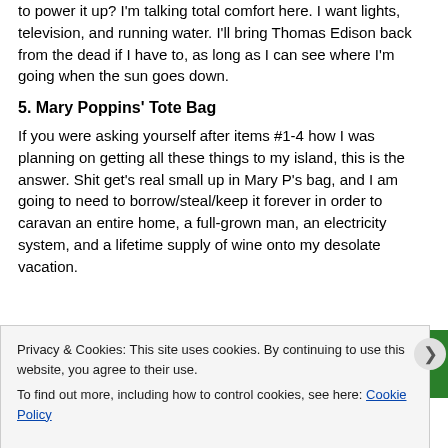to power it up?  I'm talking total comfort here.  I want lights, television, and running water.  I'll bring Thomas Edison back from the dead if I have to, as long as I can see where I'm going when the sun goes down.
5.  Mary Poppins' Tote Bag
If you were asking yourself after items #1-4 how I was planning on getting all these things to my island, this is the answer.  Shit get's real small up in Mary P's bag, and I am going to need to borrow/steal/keep it forever in order to caravan an entire home, a full-grown man, an electricity system, and a lifetime supply of wine onto my desolate vacation.
[Figure (screenshot): Green banner with italic bold white text reading 'You run your business.']
Privacy & Cookies: This site uses cookies. By continuing to use this website, you agree to their use.
To find out more, including how to control cookies, see here: Cookie Policy
Close and accept